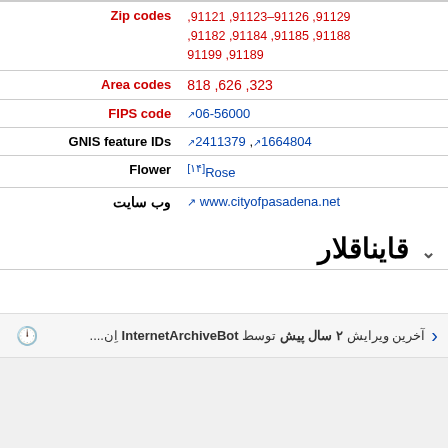| label | value |
| --- | --- |
| Zip codes (partial) | 91121 ,91123–91126 ,91129,
91182 ,91184 ,91185 ,91188,
91189 ,91199 |
| Area codes | 323 ,626 ,818 |
| FIPS code | 06-56000 |
| GNIS feature IDs | 1664804 ,2411379 |
| Flower | Rose[۱۴] |
| وب سایت | www.cityofpasadena.net |
قایناقلار
آخرین ویرایش ۲ سال پیش توسط InternetArchiveBot اِن....